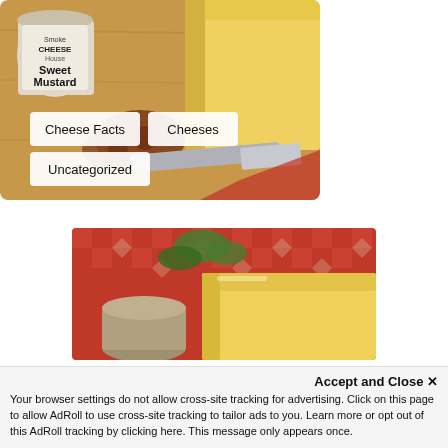[Figure (photo): Photo of cheese block, pretzel, Sweet Mustard jar, and cheese knife on wooden board, with tag buttons: Cheese Facts, Cheeses, Uncategorized]
[Figure (photo): Photo of a block of yellow cheese on a red checkered tablecloth background, with a jar and decorative vine leaves]
Accept and Close ✕
Your browser settings do not allow cross-site tracking for advertising. Click on this page to allow AdRoll to use cross-site tracking to tailor ads to you. Learn more or opt out of this AdRoll tracking by clicking here. This message only appears once.